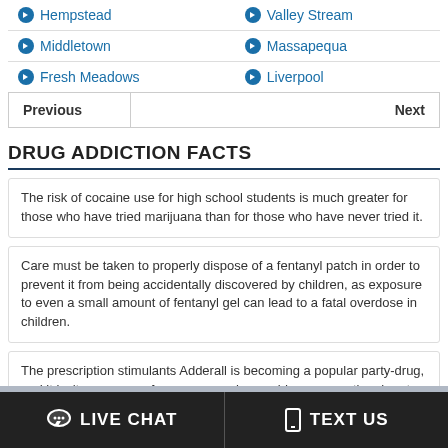Hempstead
Valley Stream
Middletown
Massapequa
Fresh Meadows
Liverpool
Previous   Next
DRUG ADDICTION FACTS
The risk of cocaine use for high school students is much greater for those who have tried marijuana than for those who have never tried it.
Care must be taken to properly dispose of a fentanyl patch in order to prevent it from being accidentally discovered by children, as exposure to even a small amount of fentanyl gel can lead to a fatal overdose in children.
The prescription stimulants Adderall is becoming a popular party-drug, and it isn't uncommon for someone who would use recreational party drugs such as Ecstasy to use a prescription stimulant such as Adderall to stay up and part all night or even for days in some cases.
LIVE CHAT   TEXT US